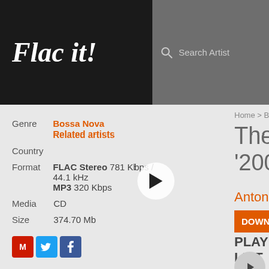Flac it!
Search Artist
Home > Bossa Nova
The Girl F
'2003
Antonio Carl
| Genre | Bossa Nova | Related artists |
| Country |  |
| Format | FLAC Stereo 781 Kbps / 44.1 kHz | MP3 320 Kbps |
| Media | CD |
| Size | 374.70 Mb |
DOWNLOAD F
PLAY LIST
01. The